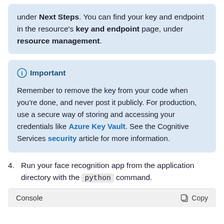under Next Steps. You can find your key and endpoint in the resource's key and endpoint page, under resource management.
Important
Remember to remove the key from your code when you're done, and never post it publicly. For production, use a secure way of storing and accessing your credentials like Azure Key Vault. See the Cognitive Services security article for more information.
4. Run your face recognition app from the application directory with the python command.
Console    Copy